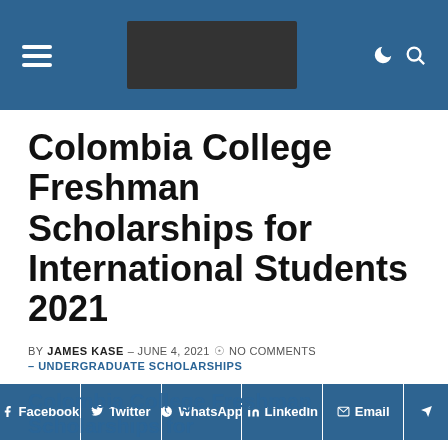Navigation bar with hamburger menu, logo, moon icon, search icon
Colombia College Freshman Scholarships for International Students 2021
BY JAMES KASE – JUNE 4, 2021  NO COMMENTS – UNDERGRADUATE SCHOLARSHIPS
[Figure (infographic): Social share buttons: Facebook, Twitter, WhatsApp, LinkedIn, Email, and one more (cut off)]
Colombia College Freshman Scholarships for